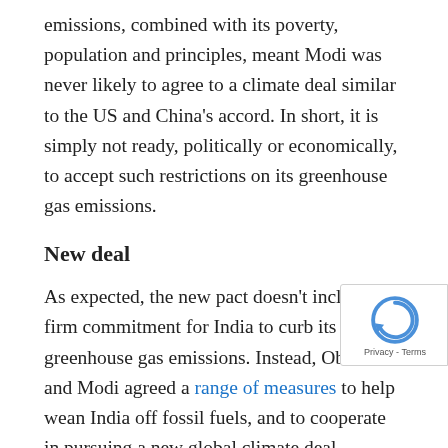emissions, combined with its poverty, population and principles, meant Modi was never likely to agree to a climate deal similar to the US and China's accord. In short, it is simply not ready, politically or economically, to accept such restrictions on its greenhouse gas emissions.
New deal
As expected, the new pact doesn't include any firm commitment for India to curb its greenhouse gas emissions. Instead, Obama and Modi agreed a range of measures to help wean India off fossil fuels, and to cooperate in pursuing a new global climate deal.
The most headline grabbing announcement was that the the countries have reached a "breakthrough in